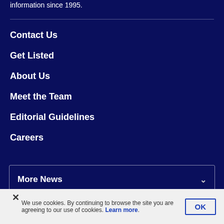information since 1995.
Contact Us
Get Listed
About Us
Meet the Team
Editorial Guidelines
Careers
More News
More from Casino.org
We use cookies. By continuing to browse the site you are agreeing to our use of cookies. Learn more.